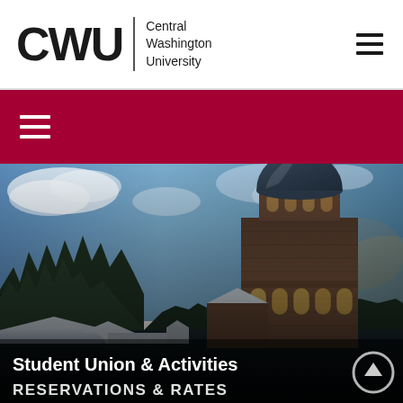CWU | Central Washington University
[Figure (logo): CWU Central Washington University logo with large CWU letters and vertical divider]
[Figure (photo): Aerial photograph of CWU campus featuring a historic red-brick tower building with a dome, against a partly cloudy sky and surrounding trees]
Student Union & Activities
RESERVATIONS & RATES